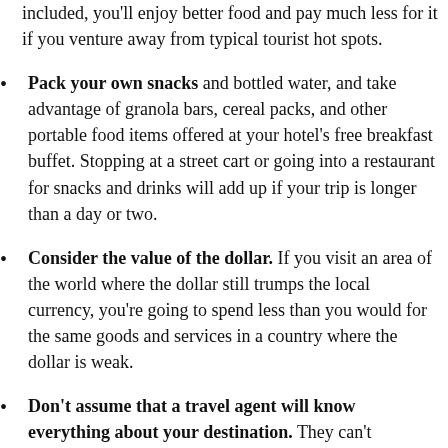included, you'll enjoy better food and pay much less for it if you venture away from typical tourist hot spots.
Pack your own snacks and bottled water, and take advantage of granola bars, cereal packs, and other portable food items offered at your hotel's free breakfast buffet. Stopping at a street cart or going into a restaurant for snacks and drinks will add up if your trip is longer than a day or two.
Consider the value of the dollar. If you visit an area of the world where the dollar still trumps the local currency, you're going to spend less than you would for the same goods and services in a country where the dollar is weak.
Don't assume that a travel agent will know everything about your destination. They can't